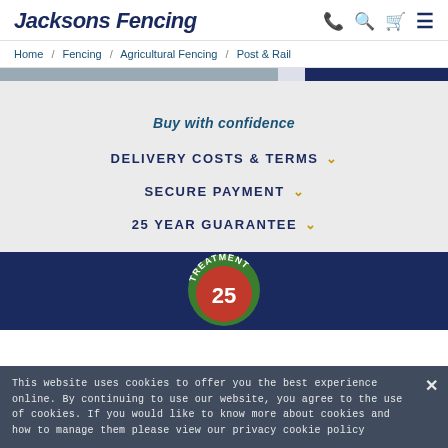Jacksons Fencing
Home / Fencing / Agricultural Fencing / Post & Rail
Buy with confidence
DELIVERY COSTS & TERMS
SECURE PAYMENT
25 YEAR GUARANTEE
[Figure (logo): Treatment 25-year guarantee badge/emblem, circular with green and red colors on dark blue background]
This website uses cookies to offer you the best experience online. By continuing to use our website, you agree to the use of cookies. If you would like to know more about cookies and how to manage them please view our privacy cookie policy